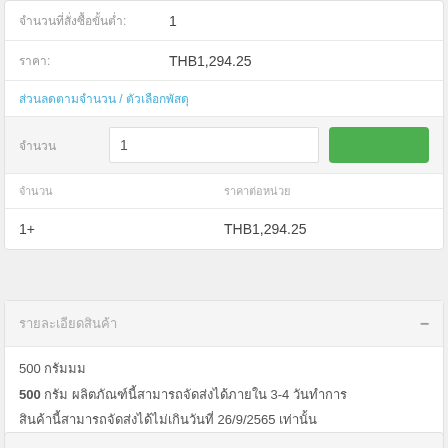จำนวนที่สั่งซื้อขั้นต่ำ: 1
ราคา: THB1,294.25
ส่วนลดตามจำนวน / ตัวเลือกพัสดุ
จำนวน 1 [input] [green button]
| จำนวน | ราคาต่อหน่วย |
| --- | --- |
| 1+ | THB1,294.25 |
รายละเอียดสินค้า
500 กรัมมม
500 กรัม ผลิตภัณฑ์นี้สามารถจัดส่งได้ภายใน 3-4 วันทำการ
สินค้านี้สามารถจัดส่งได้ไม่เกินวันที่ 26/9/2565 เท่านั้น